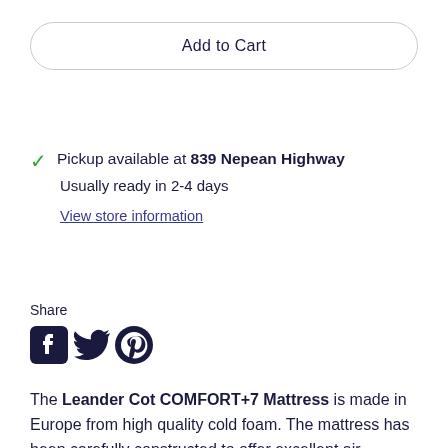Add to Cart
Pickup available at 839 Nepean Highway
Usually ready in 2-4 days
View store information
Share
[Figure (other): Social media share icons: Facebook, Twitter, Pinterest]
The Leander Cot COMFORT+7 Mattress is made in Europe from high quality cold foam. The mattress has been carefully constructed to offer excellent air